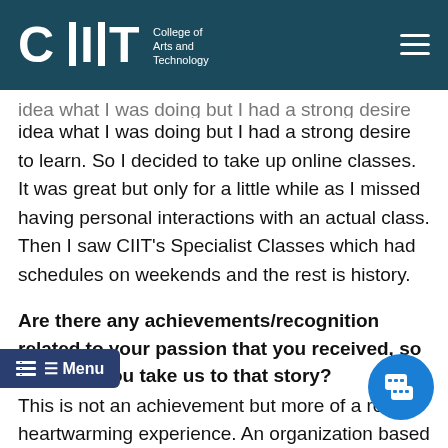CIIT College of Arts and Technology
idea what I was doing but I had a strong desire to learn. So I decided to take up online classes. It was great but only for a little while as I missed having personal interactions with an actual class. Then I saw CIIT's Specialist Classes which had schedules on weekends and the rest is history.
Are there any achievements/recognition related to your passion that you received, so far? Can you take us to that story?
This is not an achievement but more of a really heartwarming experience. An organization based in the US reached out to me on Instagram regarding my digital illustrations and we talked about collaborating for a s coloring book which aims to teach kids about different skin colors and ethnicities. Most of the artists joined were already working in animation studios or have